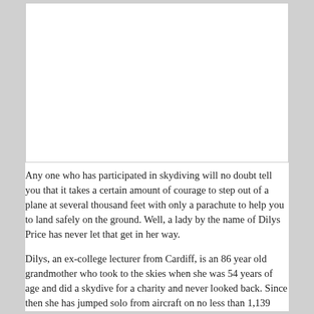[Figure (photo): A large white rectangular image placeholder area at the top of the page.]
Any one who has participated in skydiving will no doubt tell you that it takes a certain amount of courage to step out of a plane at several thousand feet with only a parachute to help you to land safely on the ground. Well, a lady by the name of Dilys Price has never let that get in her way.
Dilys, an ex-college lecturer from Cardiff, is an 86 year old grandmother who took to the skies when she was 54 years of age and did a skydive for a charity and never looked back. Since then she has jumped solo from aircraft on no less than 1,139 occasions parachuting down to earth completing jumps in various locations